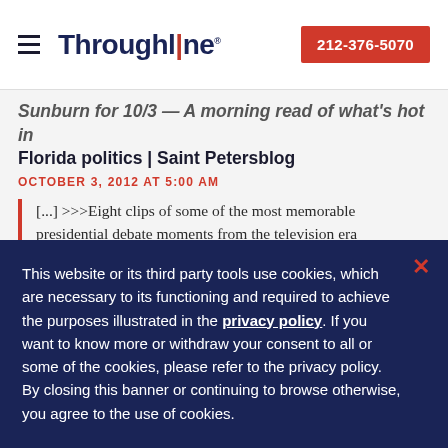Throughline | 212-376-5070
Sunburn for 10/3 — A morning read of what's hot in Florida politics | Saint Petersblog
OCTOBER 3, 2012 AT 5:00 AM
[...] >>>Eight clips of some of the most memorable presidential debate moments from the television era
This website or its third party tools use cookies, which are necessary to its functioning and required to achieve the purposes illustrated in the privacy policy. If you want to know more or withdraw your consent to all or some of the cookies, please refer to the privacy policy. By closing this banner or continuing to browse otherwise, you agree to the use of cookies.